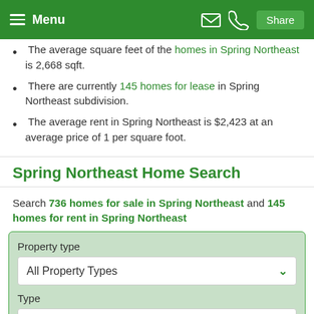Menu | Share
The average square feet of the homes in Spring Northeast is 2,668 sqft.
There are currently 145 homes for lease in Spring Northeast subdivision.
The average rent in Spring Northeast is $2,423 at an average price of 1 per square foot.
Spring Northeast Home Search
Search 736 homes for sale in Spring Northeast and 145 homes for rent in Spring Northeast
Property type
All Property Types
Type
For Sale